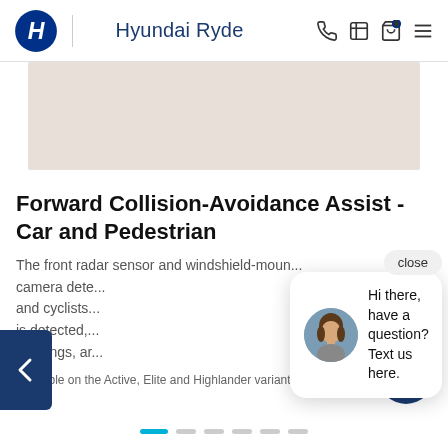Hyundai Ryde
[Figure (screenshot): Beige/tan banner image area placeholder]
Forward Collision-Avoidance Assist - Car and Pedestrian
The front radar sensor and windshield-mounted camera detects ... and cyclists ... is detected, ... warnings, ar...
Available on the Active, Elite and Highlander variants.
[Figure (screenshot): Chat popup with avatar photo of a woman and text: Hi there, have a question? Text us here.]